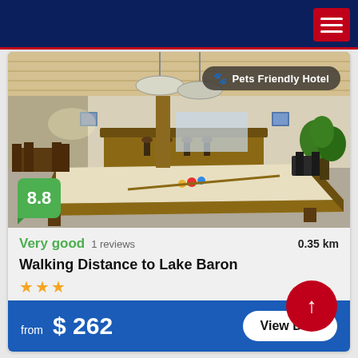[Figure (photo): Interior photo of a billiard/game room with a pool table in the foreground, wooden ceiling, bar stools and kitchen area in the background, and a plant on the right. Badge overlay reads '🐾 Pets Friendly Hotel'. Score badge shows '8.8' in green.]
Very good   1 reviews   0.35 km
Walking Distance to Lake Baron
★★★
from  $ 262
View Deal